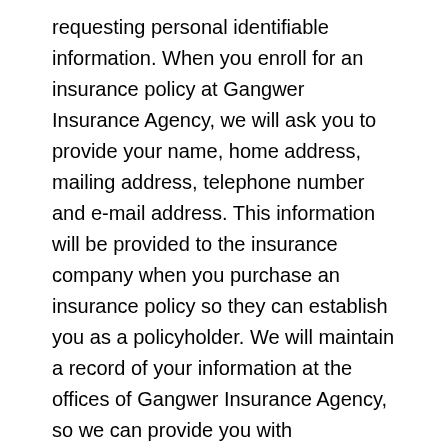requesting personal identifiable information. When you enroll for an insurance policy at Gangwer Insurance Agency, we will ask you to provide your name, home address, mailing address, telephone number and e-mail address. This information will be provided to the insurance company when you purchase an insurance policy so they can establish you as a policyholder. We will maintain a record of your information at the offices of Gangwer Insurance Agency, so we can provide you with policyholder service. The employees of Gangwer Insurance Agency are each required to sign and acknowledge a Confidentiality and Nondisclosure Agreement. Each employee has been instructed on maintaining the privacy of each customer and the importance of protecting the customer's personal information.
When you purchase an insurance policy from Gangwer Insurance Agency, you will pay the premiums with your credit card or personal check. If you use your credit card